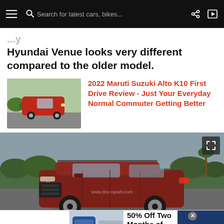Search for latest cars, bikes...
Hyundai Venue looks very different compared to the older model.
[Figure (photo): Thumbnail of red Maruti Suzuki Alto K10 driving on road]
2022 Maruti Suzuki Alto K10 First Drive Review - Just Your Everyday Normal Commuter Getting Better
[Figure (photo): Red Hyundai Venue SUV parked on road with overcast sky background, watermark www.drivespark.com visible]
[Figure (photo): SmartPak advertisement: 50% Off Two Months of ColiCare, ColiCare Eligible Supplements, CODE: COLICARE10, Shop Now]